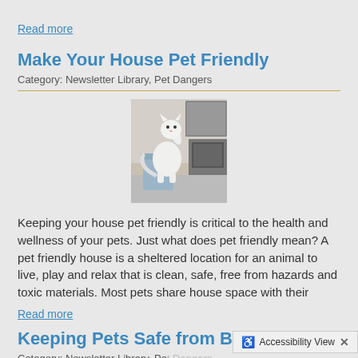Read more
Make Your House Pet Friendly
Category: Newsletter Library, Pet Dangers
[Figure (photo): A white cat standing on hind legs reaching up, in a kitchen near a trash bin]
Keeping your house pet friendly is critical to the health and wellness of your pets. Just what does pet friendly mean? A pet friendly house is a sheltered location for an animal to live, play and relax that is clean, safe, free from hazards and toxic materials. Most pets share house space with their
Read more
Keeping Pets Safe from Being Lost
Category: Newsletter Library, Pet Dangers